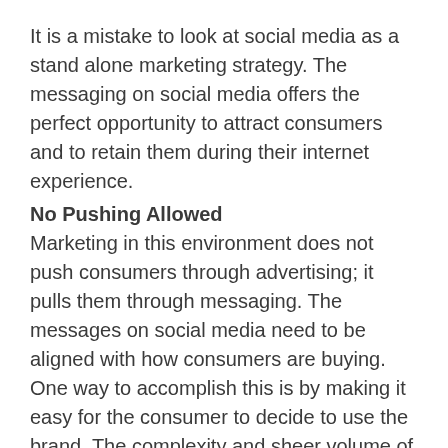It is a mistake to look at social media as a stand alone marketing strategy. The messaging on social media offers the perfect opportunity to attract consumers and to retain them during their internet experience.
No Pushing Allowed
Marketing in this environment does not push consumers through advertising; it pulls them through messaging. The messages on social media need to be aligned with how consumers are buying. One way to accomplish this is by making it easy for the consumer to decide to use the brand. The complexity and sheer volume of choices today presents opportunities to simplify the decision process. For example, honest testimonials, answering frequently-asked-questions, or accumulating social media posts by topic and then addressing them with targeted messaging, turns